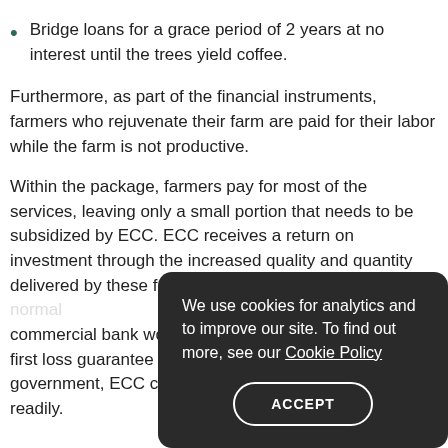Bridge loans for a grace period of 2 years at no interest until the trees yield coffee.
Furthermore, as part of the financial instruments, farmers who rejuvenate their farm are paid for their labor while the farm is not productive.
Within the package, farmers pay for most of the services, leaving only a small portion that needs to be subsidized by ECC. ECC receives a return on investment through the increased quality and quantity delivered by these farmers. As the [obscured] commercial bank work[ing with a] % first loss guarantee fu[nd from the] government, ECC can [access capital] readily.
We use cookies for analytics and to improve our site. To find out more, see our Cookie Policy